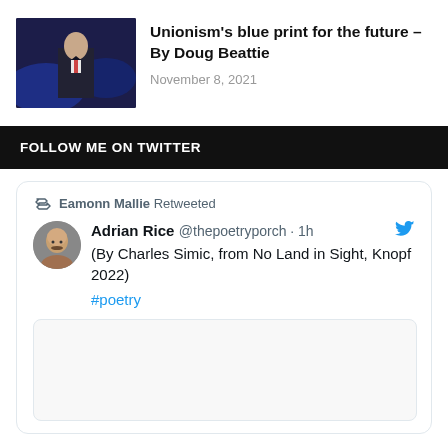[Figure (photo): Photo of a man in a suit speaking at a podium with blue lighting in the background]
Unionism's blue print for the future – By Doug Beattie
November 8, 2021
FOLLOW ME ON TWITTER
Eamonn Mallie Retweeted
[Figure (photo): Profile photo of Adrian Rice — a man with a bald head and moustache]
Adrian Rice @thepoetryporch · 1h
(By Charles Simic, from No Land in Sight, Knopf 2022)
#poetry